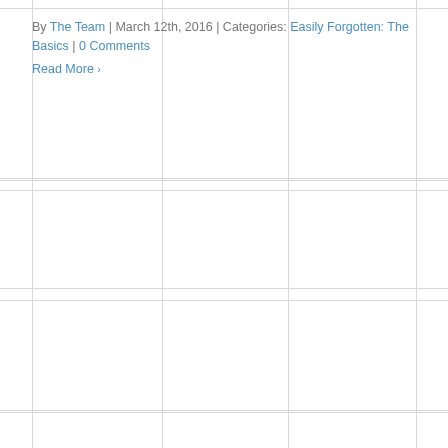By The Team | March 12th, 2016 | Categories: Easily Forgotten: The Basics | 0 Comments
Read More ›